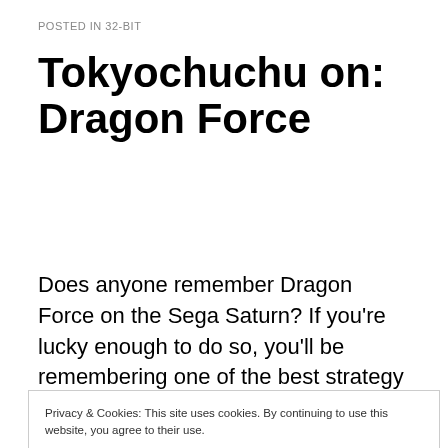POSTED IN 32-BIT
Tokyochuchu on: Dragon Force
Does anyone remember Dragon Force on the Sega Saturn? If you're lucky enough to do so, you'll be remembering one of the best strategy RPG titles of it's
Privacy & Cookies: This site uses cookies. By continuing to use this website, you agree to their use.
To find out more, including how to control cookies, see here: Cookie Policy
Close and accept
and it's a lot of fun to see a bunch of different takes on the